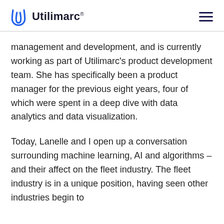Utilimarc®
management and development, and is currently working as part of Utilimarc's product development team. She has specifically been a product manager for the previous eight years, four of which were spent in a deep dive with data analytics and data visualization.
Today, Lanelle and I open up a conversation surrounding machine learning, AI and algorithms – and their affect on the fleet industry. The fleet industry is in a unique position, having seen other industries begin to